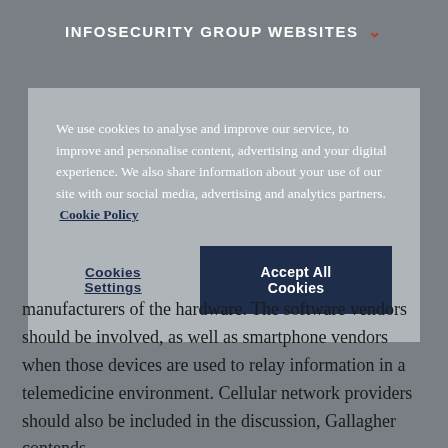INFOSECURITY GROUP WEBSITES
We use cookies to analyse and improve our service, to improve and personalise content, advertising and your digital experience. We also share information about your use of our site with our social media, advertising and analytics partners. Cookie Policy
Cookies Settings  Accept All Cookies
manufacturers of the hardware. The software vendors should be involved, as well as smartphone vendors when those devices are used to relay information in a telemedicine environment. Cellular network providers should also be included in the discussion, Gallagher contends.
“But primarily, I would provide tools and resources to healthcare providers”, she says. “They’re connecting devices to patients. What I would say is that this is part of their normal risk management process. We should be doing that